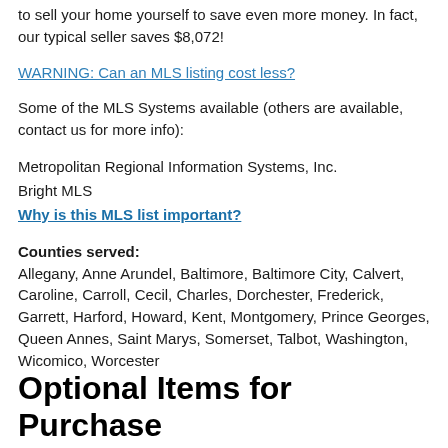to sell your home yourself to save even more money. In fact, our typical seller saves $8,072!
WARNING: Can an MLS listing cost less?
Some of the MLS Systems available (others are available, contact us for more info):
Metropolitan Regional Information Systems, Inc.
Bright MLS
Why is this MLS list important?
Counties served:
Allegany, Anne Arundel, Baltimore, Baltimore City, Calvert, Caroline, Carroll, Cecil, Charles, Dorchester, Frederick, Garrett, Harford, Howard, Kent, Montgomery, Prince Georges, Queen Annes, Saint Marys, Somerset, Talbot, Washington, Wicomico, Worcester
Optional Items for Purchase